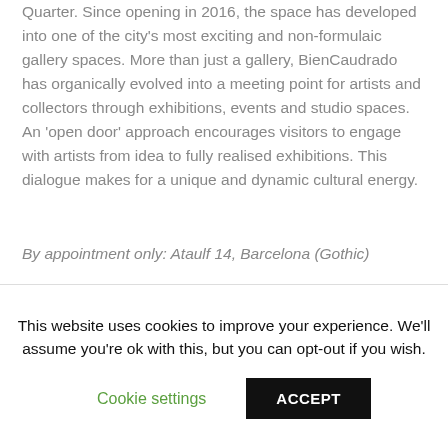Quarter. Since opening in 2016, the space has developed into one of the city's most exciting and non-formulaic gallery spaces. More than just a gallery, BienCaudrado has organically evolved into a meeting point for artists and collectors through exhibitions, events and studio spaces. An 'open door' approach encourages visitors to engage with artists from idea to fully realised exhibitions. This dialogue makes for a unique and dynamic cultural energy.
By appointment only: Ataulf 14, Barcelona (Gothic)
[Figure (photo): A gallery interior showing artwork hung on walls, multiple framed pieces arranged in rows, warm-toned walls, partial view of a doorway on the right.]
This website uses cookies to improve your experience. We'll assume you're ok with this, but you can opt-out if you wish.
Cookie settings   ACCEPT